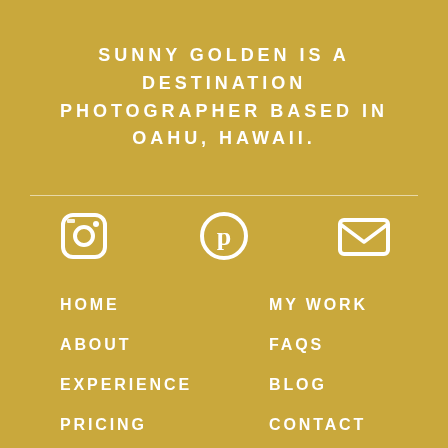SUNNY GOLDEN IS A DESTINATION PHOTOGRAPHER BASED IN OAHU, HAWAII.
[Figure (infographic): Three white icons: Instagram camera icon, Pinterest P icon, and email envelope icon, centered horizontally on gold background.]
HOME
ABOUT
EXPERIENCE
PRICING
MY WORK
FAQS
BLOG
CONTACT